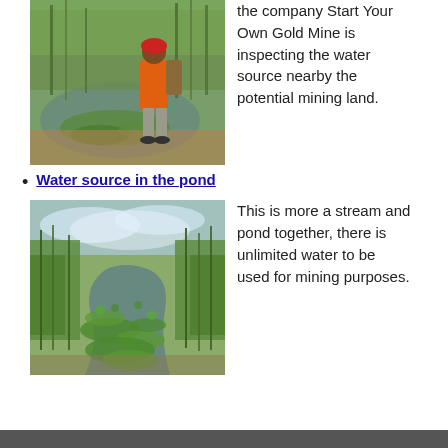[Figure (photo): Man in orange shirt and red helmet standing beside a green lily-pad covered pond with tall reeds in the background, inspecting a water source.]
the company Start Your Own Gold Mine is inspecting the water source nearby the potential mining land.
Water source in the pond
[Figure (photo): View of a stream and pond covered with green lily pads, surrounded by tall reeds and grasses under a partly cloudy sky.]
This is more a stream and pond together, there is unlimited water to be used for mining purposes.